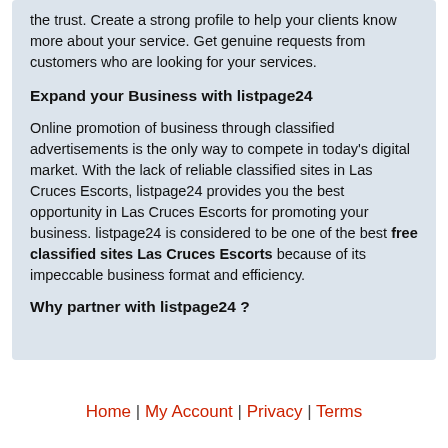the trust. Create a strong profile to help your clients know more about your service. Get genuine requests from customers who are looking for your services.
Expand your Business with listpage24
Online promotion of business through classified advertisements is the only way to compete in today's digital market. With the lack of reliable classified sites in Las Cruces Escorts, listpage24 provides you the best opportunity in Las Cruces Escorts for promoting your business. listpage24 is considered to be one of the best free classified sites Las Cruces Escorts because of its impeccable business format and efficiency.
Why partner with listpage24 ?
Home | My Account | Privacy | Terms